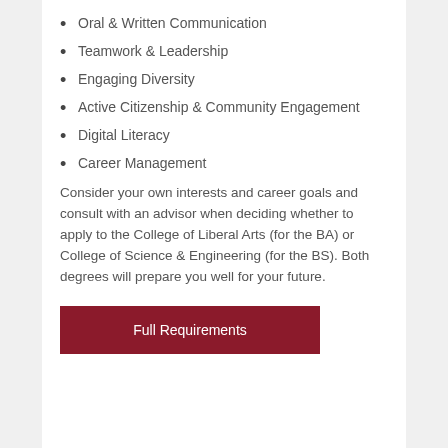Oral & Written Communication
Teamwork & Leadership
Engaging Diversity
Active Citizenship & Community Engagement
Digital Literacy
Career Management
Consider your own interests and career goals and consult with an advisor when deciding whether to apply to the College of Liberal Arts (for the BA) or College of Science & Engineering (for the BS). Both degrees will prepare you well for your future.
Full Requirements